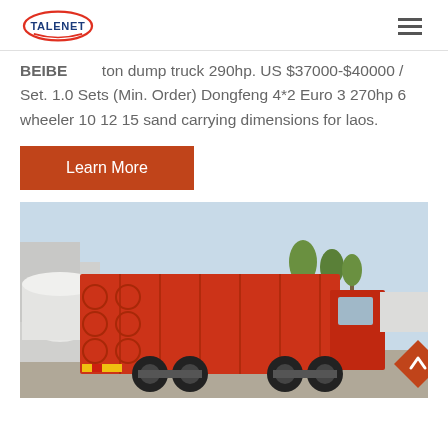[Figure (logo): Talenet logo with red swoosh and blue text]
BEIBE... ton dump truck 290hp. US $37000-$40000 / Set. 1.0 Sets (Min. Order) Dongfeng 4*2 Euro 3 270hp 6 wheeler 10 12 15 sand carrying dimensions for laos.
Learn More
[Figure (photo): Red dump truck parked in a yard, rear/side view, with industrial buildings and trees in background]